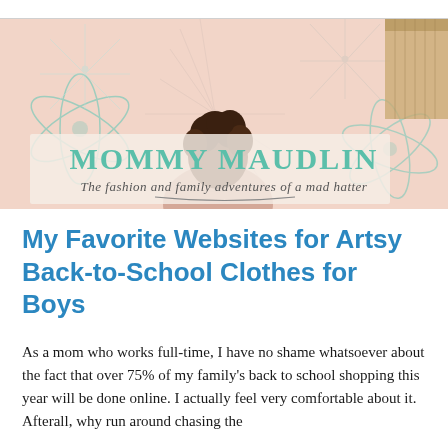[Figure (illustration): Blog header banner for Mommy Maudlin. Pink/salmon background with retro atomic-age decorative patterns in mint green. A person with curly hair is seen from behind in the center. Text reads MOMMY MAUDLIN in large teal serif letters, with tagline The fashion and family adventures of a mad hatter in cursive below. A tan/gold geometric shape is in the upper right.]
My Favorite Websites for Artsy Back-to-School Clothes for Boys
As a mom who works full-time, I have no shame whatsoever about the fact that over 75% of my family’s back to school shopping this year will be done online. I actually feel very comfortable about it. Afterall, why run around chasing the